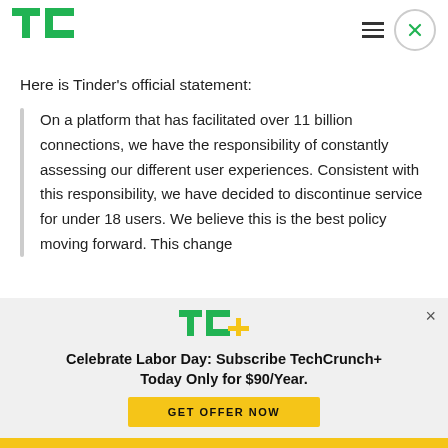[Figure (logo): TechCrunch TC green logo in header]
Here is Tinder’s official statement:
On a platform that has facilitated over 11 billion connections, we have the responsibility of constantly assessing our different user experiences. Consistent with this responsibility, we have decided to discontinue service for under 18 users. We believe this is the best policy moving forward. This change
[Figure (logo): TechCrunch TC+ logo in popup banner]
Celebrate Labor Day: Subscribe TechCrunch+ Today Only for $90/Year.
GET OFFER NOW